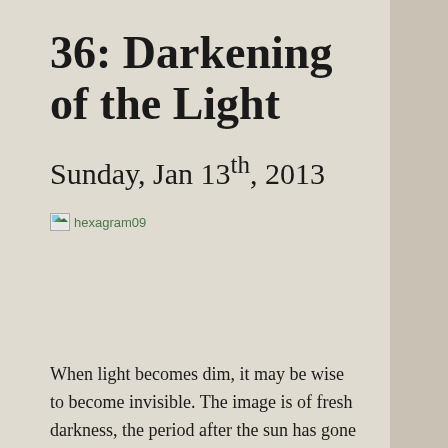36: Darkening of the Light
Sunday, Jan 13th, 2013
[Figure (illustration): Small broken image placeholder labeled 'hexagram09']
When light becomes dim, it may be wise to become invisible. The image is of fresh darkness, the period after the sun has gone down or the fire has gone out. There is